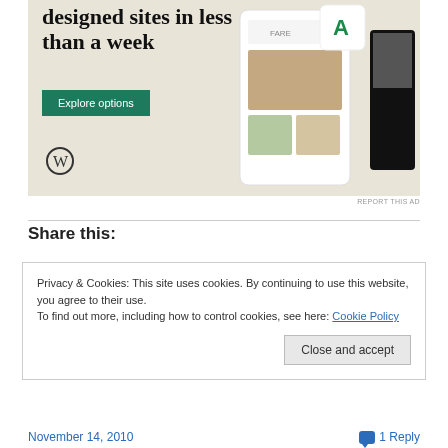[Figure (screenshot): WordPress ad banner with beige/tan background showing 'Professionally designed sites in less than a week' headline, a green 'Explore options' button, WordPress logo, and mockup screenshots of websites on the right side]
REPORT THIS AD
Share this:
Privacy & Cookies: This site uses cookies. By continuing to use this website, you agree to their use.
To find out more, including how to control cookies, see here: Cookie Policy
Close and accept
November 14, 2010   1 Reply